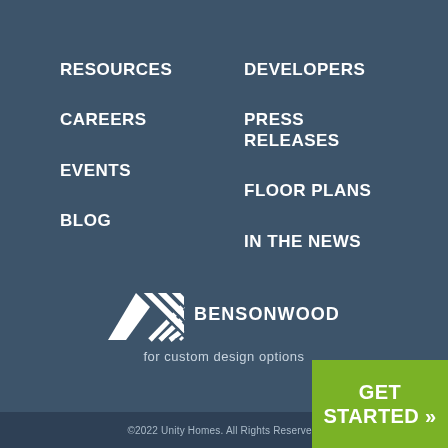RESOURCES
CAREERS
EVENTS
BLOG
DEVELOPERS
PRESS RELEASES
FLOOR PLANS
IN THE NEWS
[Figure (logo): Bensonwood logo with diagonal striped roof/chevron shape above the text BENSONWOOD, with tagline 'for custom design options']
©2022 Unity Homes. All Rights Reserved.
GET STARTED »